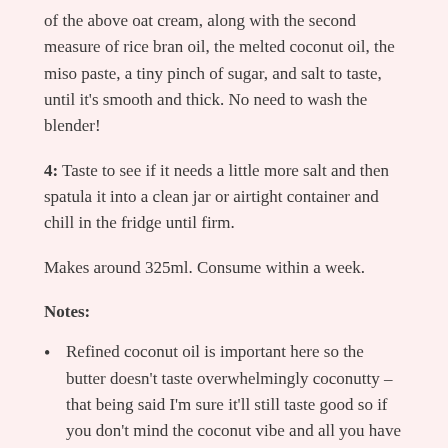of the above oat cream, along with the second measure of rice bran oil, the melted coconut oil, the miso paste, a tiny pinch of sugar, and salt to taste, until it’s smooth and thick. No need to wash the blender!
4: Taste to see if it needs a little more salt and then spatula it into a clean jar or airtight container and chill in the fridge until firm.
Makes around 325ml. Consume within a week.
Notes:
Refined coconut oil is important here so the butter doesn’t taste overwhelmingly coconutty – that being said I’m sure it’ll still taste good so if you don’t mind the coconut vibe and all you have is unrefined coconut oil, go ahead.